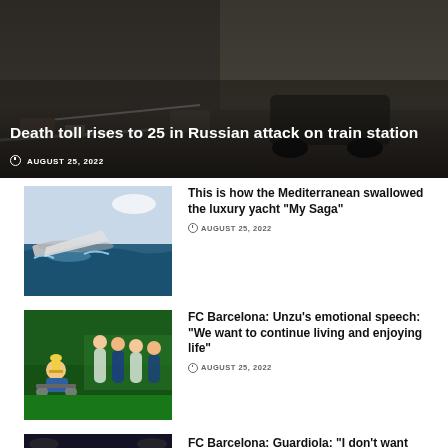[Figure (photo): Dark hero image of a destroyed/damaged road scene with a vehicle, used as background for headline news article about train station attack]
Death toll rises to 25 in Russian attack on train station
AUGUST 25, 2022
[Figure (photo): Photo of a luxury yacht sinking or submerged in the Mediterranean sea]
This is how the Mediterranean swallowed the luxury yacht “My Saga”
AUGUST 25, 2022
[Figure (photo): Photo of FC Barcelona related event, person in wheelchair with trophy, team members in background]
FC Barcelona: Unzu’s emotional speech: “We want to continue living and enjoying life”
AUGUST 25, 2022
[Figure (photo): Photo of Pep Guardiola gesturing during a football match night scene]
FC Barcelona: Guardiola: “I don’t want Bernardo Silva to leave, he’s a superlative player”
AUGUST 25, 2022